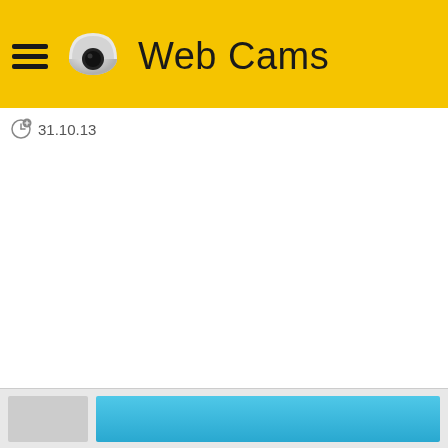Web Cams
31.10.13
[Figure (screenshot): Bottom preview bar showing a thumbnail placeholder and a blue camera feed area]